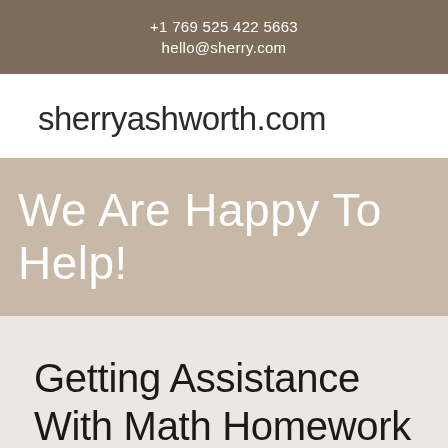+1 769 525 422 5663
hello@sherry.com
sherryashworth.com
We Are Happy To Help!
Getting Assistance With Math Homework From Experts